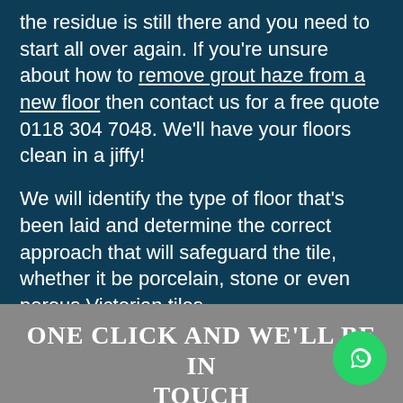the residue is still there and you need to start all over again. If you're unsure about how to remove grout haze from a new floor then contact us for a free quote 0118 304 7048. We'll have your floors clean in a jiffy!
We will identify the type of floor that's been laid and determine the correct approach that will safeguard the tile, whether it be porcelain, stone or even porous Victorian tiles.
One click and we'll be in touch
Get A Quote!